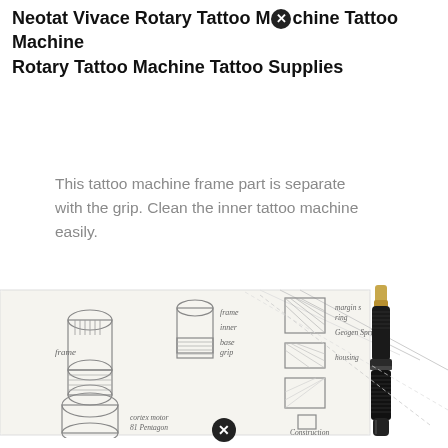Neotat Vivace Rotary Tattoo Machine Tattoo Machine Rotary Tattoo Machine Tattoo Supplies
This tattoo machine frame part is separate with the grip. Clean the inner tattoo machine easily.
[Figure (illustration): Product photo of a black rotary tattoo machine pen with gold tip connector overlaid on a hand-drawn design sketch sheet showing component breakdowns and annotations.]